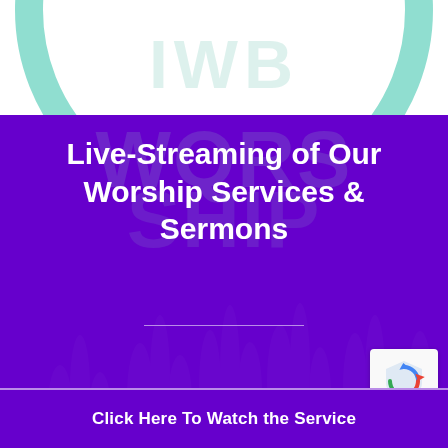[Figure (logo): Partial teal arc/circle logo on white background at top of page]
Live-Streaming of Our Worship Services & Sermons
[Figure (logo): Google reCAPTCHA badge with blue/red/green shield icon and Privacy - Terms text]
Click Here To Watch the Service